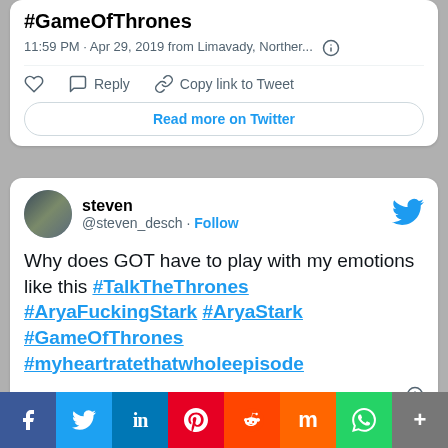#GameOfThrones
11:59 PM · Apr 29, 2019 from Limavady, Norther...
Reply  Copy link to Tweet
Read more on Twitter
steven @steven_desch · Follow
Why does GOT have to play with my emotions like this #TalkTheThrones #AryaFuckingStark #AryaStark #GameOfThrones #myheartratethatwholeepisode
11:58 PM · Apr 29, 2019
Reply  Copy link
f  Twitter  in  P  Reddit  m  WhatsApp  +